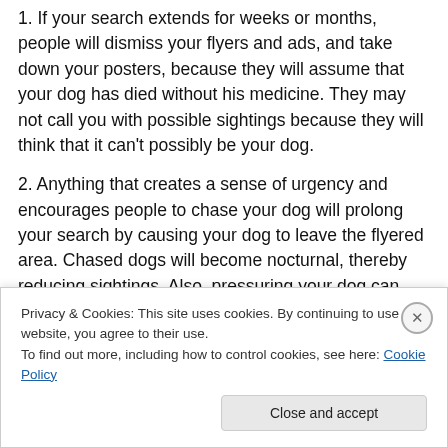1. If your search extends for weeks or months, people will dismiss your flyers and ads, and take down your posters, because they will assume that your dog has died without his medicine. They may not call you with possible sightings because they will think that it can't possibly be your dog.
2. Anything that creates a sense of urgency and encourages people to chase your dog will prolong your search by causing your dog to leave the flyered area. Chased dogs will become nocturnal, thereby reducing sightings. Also, pressuring your dog can cause him to stay...
Privacy & Cookies: This site uses cookies. By continuing to use this website, you agree to their use. To find out more, including how to control cookies, see here: Cookie Policy
Close and accept